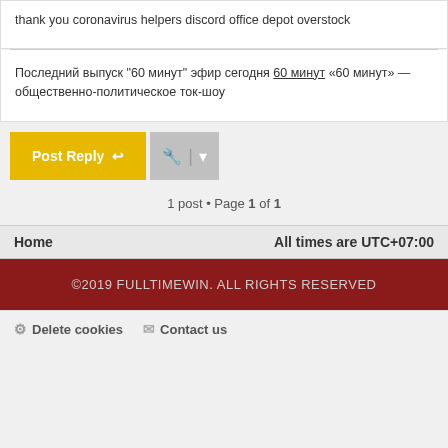thank you coronavirus helpers discord office depot overstock
Последний выпуск "60 минут" эфир сегодня 60 минут «60 минут» — общественно-политическое ток-шоу
Post Reply
1 post • Page 1 of 1
Home
All times are UTC+07:00
©2019 FULLTIMEWIN. ALL RIGHTS RESERVED
Delete cookies   Contact us